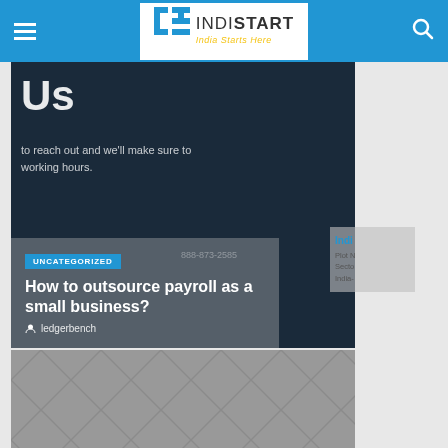INDISTART — India Starts Here
[Figure (screenshot): Dark navy background card showing partial 'Us' heading and text 'to reach out and we'll make sure to working hours.']
UNCATEGORIZED
How to outsource payroll as a small business?
ledgerbench
[Figure (screenshot): Gray card with abstract background pattern]
UNCATEGORIZED
How To Create A Startup That Will